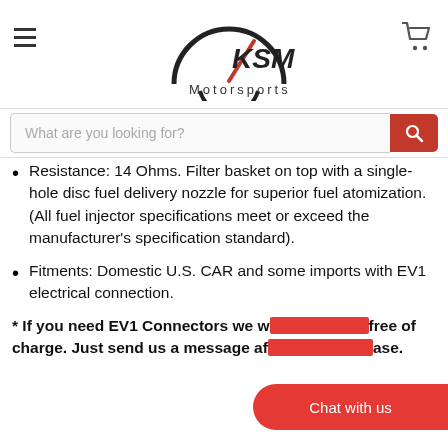KSM Motorsports
What are you looking for?
Resistance: 14 Ohms. Filter basket on top with a single-hole disc fuel delivery nozzle for superior fuel atomization. (All fuel injector specifications meet or exceed the manufacturer's specification standard).
Fitments: Domestic U.S. CAR and some imports with EV1 electrical connection.
* If you need EV1 Connectors we w[ill send them] free of charge. Just send us a message af[ter your purch]ase.